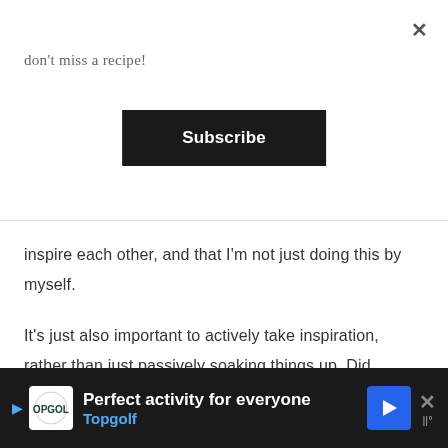don't miss a recipe!
Subscribe
inspire each other, and that I'm not just doing this by myself.
It's just also important to actively take inspiration, rather than just passively soaking things up. Did someone's photo inspire yours? Did you adapt someone else's recipe? Did someone's combination of ingredients make you think to do something similar? Did someone teach you about a new
Perfect activity for everyone  Topgolf